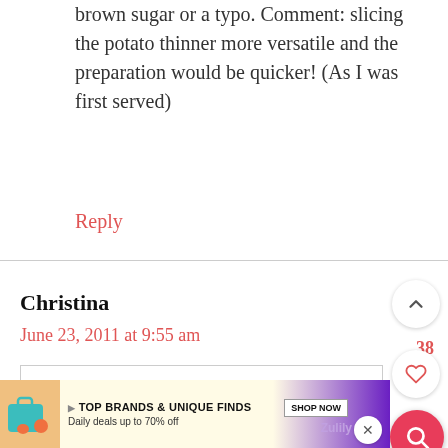brown sugar or a typo. Comment: slicing the potato thinner more versatile and the preparation would be quicker! (As I was first served)
Reply
Christina
June 23, 2011 at 9:55 am
38
Hi Ann — The sugar issue was a typo...it's fixed now. You just add it
TOP BRANDS & UNIQUE FINDS Daily deals up to 70% off SHOP NOW